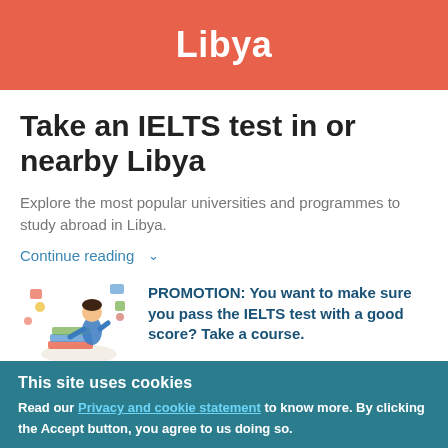Libya
Take an IELTS test in or nearby Libya
Explore the most popular universities and programmes to study abroad in Libya.
Continue reading ∨
PROMOTION: You want to make sure you pass the IELTS test with a good score? Take a course.
This site uses cookies
Read our Privacy and cookie statement to know more. By clicking the Accept button, you agree to us doing so.